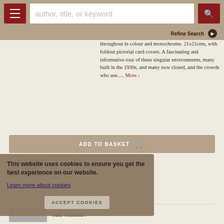author, title, or keyword [search bar] | Refine Search
throughout in colour and monochrome. 21x21cms, with foldout pictorial card covers. A fascinating and informative tour of these singular environments, many built in the 1930s, and many now closed, and the crowds who use..... More ›
ADD TO BASKET
Price: £45.00
Item Details
Ask a Question
This website uses cookies to ensure you get the best experience on our website. Learn more about cookies
ACCEPT COOKIES
Iain Sinclair: